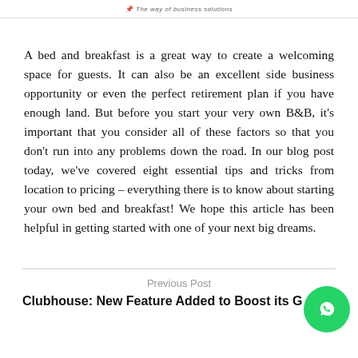The way of business solutions
A bed and breakfast is a great way to create a welcoming space for guests. It can also be an excellent side business opportunity or even the perfect retirement plan if you have enough land. But before you start your very own B&B, it's important that you consider all of these factors so that you don't run into any problems down the road. In our blog post today, we've covered eight essential tips and tricks from location to pricing – everything there is to know about starting your own bed and breakfast! We hope this article has been helpful in getting started with one of your next big dreams.
Previous Post
Clubhouse: New Feature Added to Boost its G…